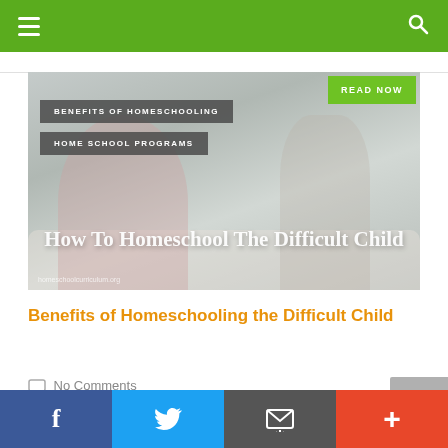Navigation bar with hamburger menu and search icon
[Figure (photo): Blog post featured image showing a young girl covering her ears with hands and an adult standing behind her. Overlaid with tags 'BENEFITS OF HOMESCHOOLING' and 'HOME SCHOOL PROGRAMS', a 'READ NOW' green button, and the title 'How To Homeschool The Difficult Child'. Watermark: homeschoolcurriculum.org]
Benefits of Homeschooling the Difficult Child
No Comments
Social share bar with Facebook, Twitter, Email, and Plus buttons